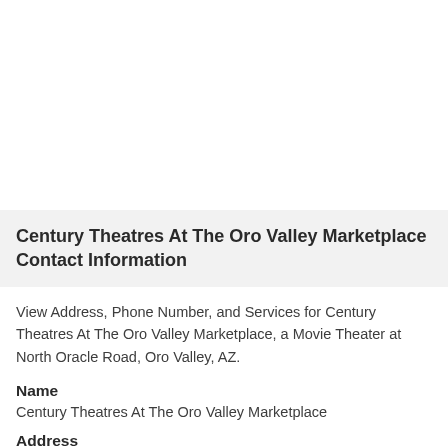Century Theatres At The Oro Valley Marketplace Contact Information
View Address, Phone Number, and Services for Century Theatres At The Oro Valley Marketplace, a Movie Theater at North Oracle Road, Oro Valley, AZ.
Name
Century Theatres At The Oro Valley Marketplace
Address